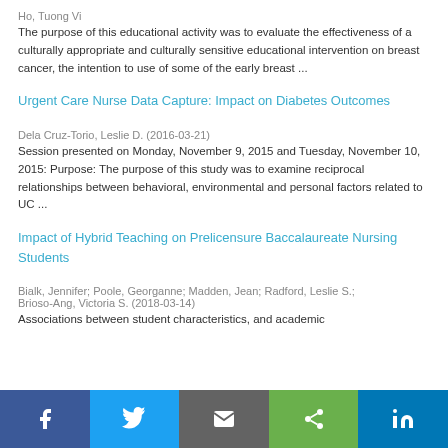Ho, Tuong Vi
The purpose of this educational activity was to evaluate the effectiveness of a culturally appropriate and culturally sensitive educational intervention on breast cancer, the intention to use of some of the early breast ...
Urgent Care Nurse Data Capture: Impact on Diabetes Outcomes
Dela Cruz-Torio, Leslie D. (2016-03-21)
Session presented on Monday, November 9, 2015 and Tuesday, November 10, 2015: Purpose: The purpose of this study was to examine reciprocal relationships between behavioral, environmental and personal factors related to UC ...
Impact of Hybrid Teaching on Prelicensure Baccalaureate Nursing Students
Bialk, Jennifer; Poole, Georganne; Madden, Jean; Radford, Leslie S.; Brioso-Ang, Victoria S. (2018-03-14)
Associations between student characteristics, and academic
f  t  email  share  in